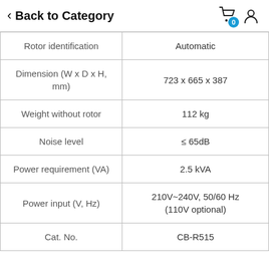Back to Category
|  |  |
| --- | --- |
| Rotor identification | Automatic |
| Dimension (W x D x H, mm) | 723 x 665 x 387 |
| Weight without rotor | 112 kg |
| Noise level | ≤ 65dB |
| Power requirement (VA) | 2.5 kVA |
| Power input (V, Hz) | 210V~240V, 50/60 Hz (110V optional) |
| Cat. No. | CB-R515 |